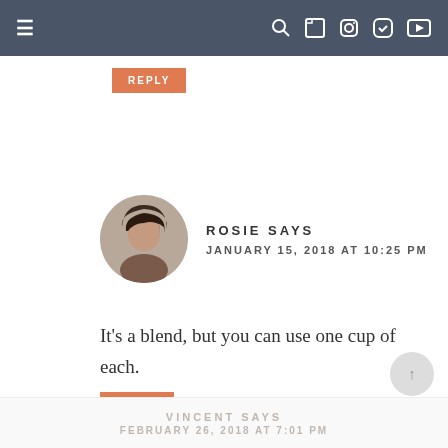Navigation bar with hamburger menu and social icons
REPLY
[Figure (photo): Round avatar photo of Rosie, a woman with curly dark hair]
ROSIE SAYS
JANUARY 15, 2018 AT 10:25 PM
It's a blend, but you can use one cup of each.
REPLY
VINCENT SAYS
FEBRUARY 26, 2018 AT 7:01 PM